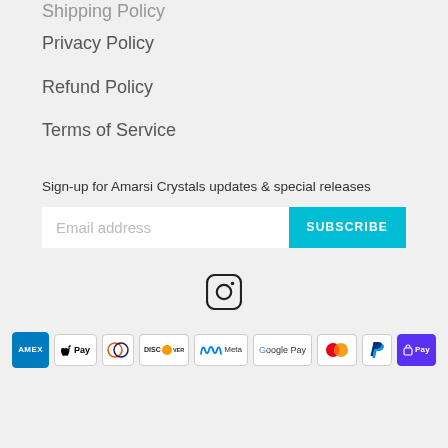Shipping Policy
Privacy Policy
Refund Policy
Terms of Service
Sign-up for Amarsi Crystals updates & special releases
Email address
SUBSCRIBE
[Figure (logo): Instagram icon]
[Figure (infographic): Payment method logos: American Express, Apple Pay, Diners Club, Discover, Meta Pay, Google Pay, Mastercard, PayPal, Shop Pay]